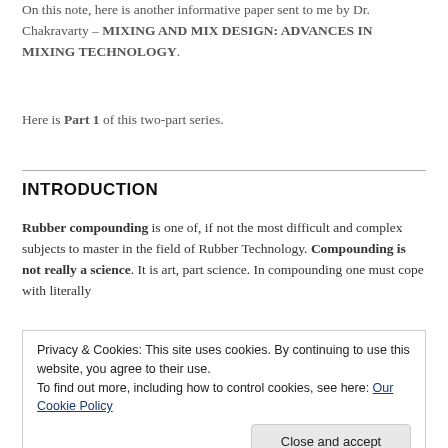On this note, here is another informative paper sent to me by Dr. Chakravarty – MIXING AND MIX DESIGN: ADVANCES IN MIXING TECHNOLOGY.
Here is Part 1 of this two-part series.
INTRODUCTION
Rubber compounding is one of, if not the most difficult and complex subjects to master in the field of Rubber Technology. Compounding is not really a science. It is art, part science. In compounding one must cope with literally
Privacy & Cookies: This site uses cookies. By continuing to use this website, you agree to their use.
To find out more, including how to control cookies, see here: Our Cookie Policy